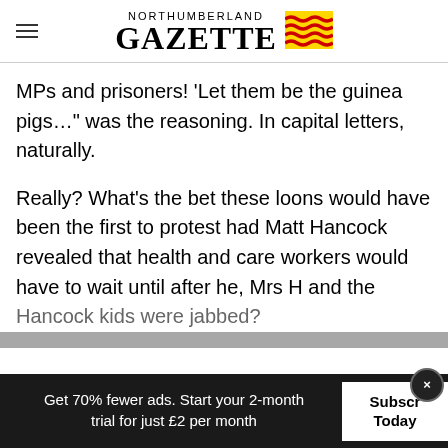NORTHUMBERLAND GAZETTE
MPs and prisoners! ‘Let them be the guinea pigs…” was the reasoning. In capital letters, naturally.
Really? What’s the bet these loons would have been the first to protest had Matt Hancock revealed that health and care workers would have to wait until after he, Mrs H and the Hancock kids were jabbed?
Get 70% fewer ads. Start your 2-month trial for just £2 per month
Subscribe Today